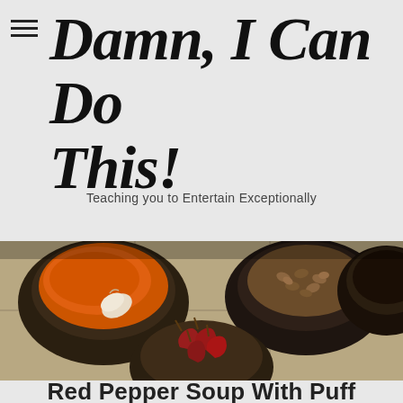Damn, I Can Do This!
Teaching you to Entertain Exceptionally
[Figure (photo): Overhead view of dark rustic bowls filled with spices: orange turmeric/chili powder with a garlic clove, brown seeds/nuts, and dried red chili peppers on a stone surface.]
Red Pepper Soup With Puff